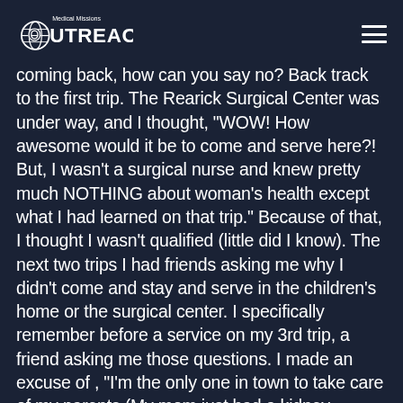Medical Missions Outreach
coming back, how can you say no? Back track to the first trip. The Rearick Surgical Center was under way, and I thought, "WOW! How awesome would it be to come and serve here?! But, I wasn't a surgical nurse and knew pretty much NOTHING about woman's health except what I had learned on that trip." Because of that, I thought I wasn't qualified (little did I know). The next two trips I had friends asking me why I didn't come and stay and serve in the children's home or the surgical center. I specifically remember before a service on my 3rd trip, a friend asking me those questions. I made an excuse of , "I'm the only one in town to take care of my parents (My mom just had a kidney transplant), I just bought a new house and have 2 cats". Her response was, "Don't you think God will provide